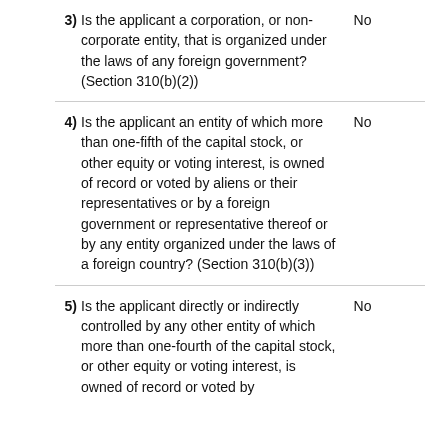| Question | Answer |
| --- | --- |
| 3) Is the applicant a corporation, or non-corporate entity, that is organized under the laws of any foreign government? (Section 310(b)(2)) | No |
| 4) Is the applicant an entity of which more than one-fifth of the capital stock, or other equity or voting interest, is owned of record or voted by aliens or their representatives or by a foreign government or representative thereof or by any entity organized under the laws of a foreign country? (Section 310(b)(3)) | No |
| 5) Is the applicant directly or indirectly controlled by any other entity of which more than one-fourth of the capital stock, or other equity or voting interest, is owned of record or voted by | No |